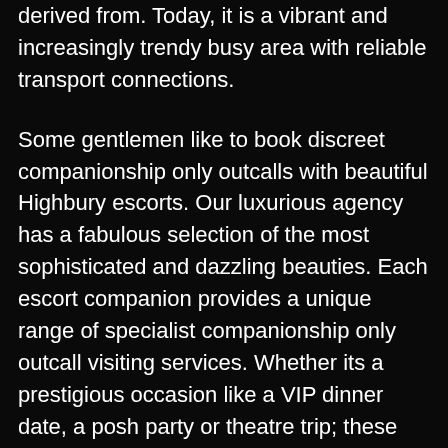derived from. Today, it is a vibrant and increasingly trendy busy area with reliable transport connections.
Some gentlemen like to book discreet companionship only outcalls with beautiful Highbury escorts. Our luxurious agency has a fabulous selection of the most sophisticated and dazzling beauties. Each escort companion provides a unique range of specialist companionship only outcall visiting services. Whether its a prestigious occasion like a VIP dinner date, a posh party or theatre trip; these beauties are ideal companions. It may be that you simply meet up with them for a few quiet drinks after work one day. Our professional North London escort agency is much more dynamic and intriguing